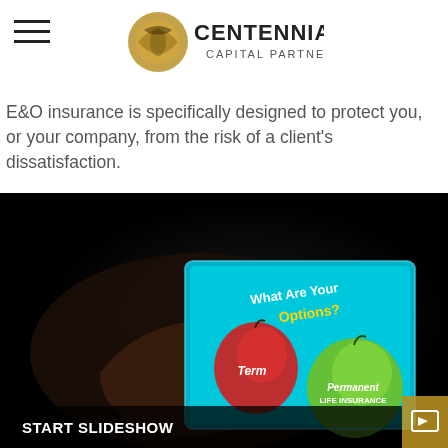Centennial Capital Partners [logo with hamburger menu]
E&O insurance is specifically designed to protect you, or your company, from the risk of a client's dissatisfaction.
[Figure (photo): Dark photo of a person's hand touching a tablet screen showing a slideshow about life insurance options (red apple labeled 'Term' and green apple labeled 'Permanent Life Insurance'). Text on screen: 'What Are Your Options?'. Bottom bar shows 'START SLIDESHOW' with a slideshow icon.]